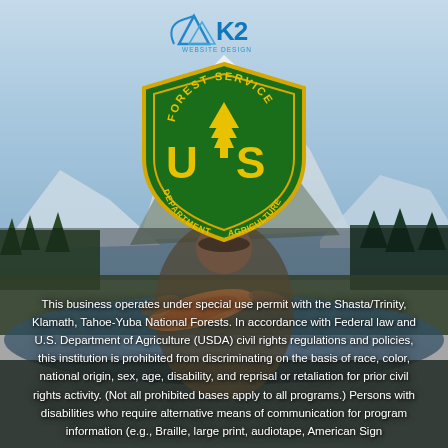[Figure (photo): Background photo of a man holding a large trout fish near a river, with snow-capped mountains (likely Mt. Shasta) and forest trees in the background. A K2 Website Design logo appears at the top center, and the US Forest Service shield badge (Department of Agriculture) is overlaid in the center upper portion.]
This business operates under special use permit with the Shasta/Trinity, Klamath, Tahoe-Yuba National Forests. In accordance with Federal law and U.S. Department of Agriculture (USDA) civil rights regulations and policies, this institution is prohibited from discriminating on the basis of race, color, national origin, sex, age, disability, and reprisal or retaliation for prior civil rights activity. (Not all prohibited bases apply to all programs.) Persons with disabilities who require alternative means of communication for program information (e.g., Braille, large print, audiotape, American Sign